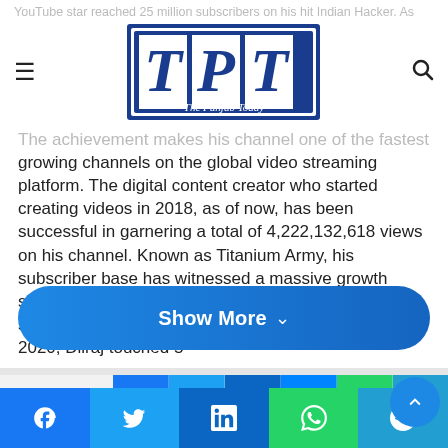The Punjab Today — navigation header with logo
YouTube star reached 25 million subscribers on his hit Indian Hacker. As soon as Dilraj hit the subscribers milestone, his channel was trending on YouTube.
The achievement makes his channel one of the fastest growing channels on the global video streaming platform. The digital content creator who started creating videos in 2018, as of now, has been successful in garnering a total of 4,222,132,618 views on his channel. Known as Titanium Army, his subscriber base has witnessed a massive growth since past 5 years. His channel reached 1 million subscribers on 16 August 2019, and soon on 1 March 2020, Dilraj touched 5
[Figure (other): Show More button — blue rounded rectangle with white text 'Show More' and chevron down icon]
[Figure (other): Social share buttons row: Facebook, Twitter, LinkedIn, Messenger, WhatsApp, Telegram icons on colored backgrounds, plus scroll-to-top blue circle button]
[Figure (other): Bottom sticky social share bar: Facebook (blue), Twitter (light blue), LinkedIn (dark blue), WhatsApp (green), Telegram (teal)]